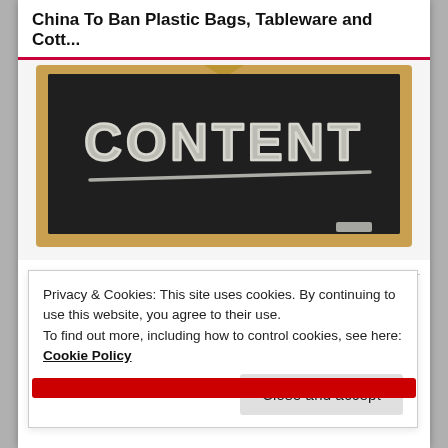China To Ban Plastic Bags, Tableware and Cott...
[Figure (photo): Chalkboard with the word CONTENT written in chalk, with a chalk underline beneath it, wooden frame border]
BUY A SUBSCRIPTION
Privacy & Cookies: This site uses cookies. By continuing to use this website, you agree to their use.
To find out more, including how to control cookies, see here: Cookie Policy
Close and accept